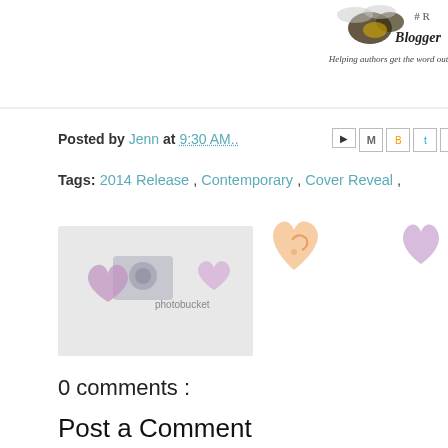[Figure (illustration): Partial view of a blogger badge/logo with text 'Blogger' and 'Helping authors get the word out!' along with decorative bee/insect graphic, partially cropped at top]
Posted by Jenn at 9:30 AM..
Tags: 2014 Release , Contemporary , Cover Reveal ,
[Figure (illustration): Decorative heart illustrations: a photobucket placeholder image with purple hearts and a peach/orange swirl heart and a partial purple heart on the right]
0 comments :
Post a Comment
Thanks so much for passing by and for commenting. and every comment.
To leave a comment, click the button below to sign in with G